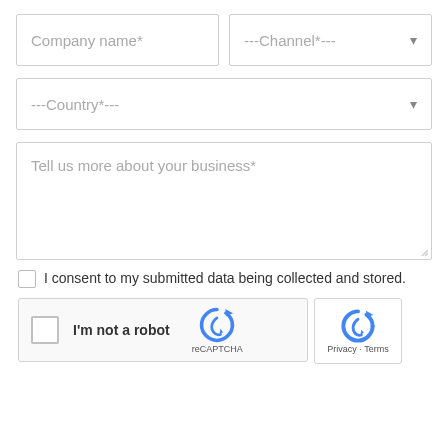[Figure (screenshot): Web form with Company name input, Channel dropdown, Country dropdown, Tell us more about your business textarea, consent checkbox, and reCAPTCHA widget]
Company name*
---Channel*---
---Country*---
Tell us more about your business*
I consent to my submitted data being collected and stored.
I'm not a robot
reCAPTCHA
Privacy · Terms